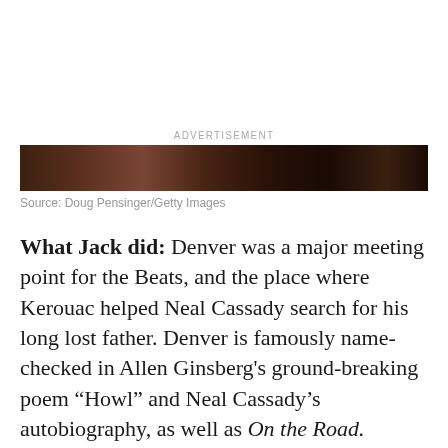[Figure (photo): Dark nighttime aerial photograph of Denver cityscape, shown as a narrow horizontal strip banner labeled as advertisement]
Source: Doug Pensinger/Getty Images
What Jack did: Denver was a major meeting point for the Beats, and the place where Kerouac helped Neal Cassady search for his long lost father. Denver is famously name-checked in Allen Ginsberg's ground-breaking poem “Howl” and Neal Cassady’s autobiography, as well as On the Road. Though the area is now gentrified, the skid row that